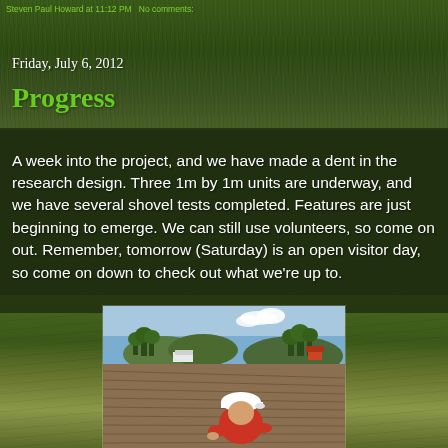Steven Paul Howard at 11:12 PM   No comments:
Friday, July 6, 2012
Progress
A week into the project, and we have made a dent in the research design. Three 1m by 1m units are underway, and we have several shovel tests completed. Features are just beginning to emerge. We can still use volunteers, so come on out. Remember, tomorrow (Saturday) is an open visitor day, so come on down to check out what we're up to.
[Figure (photo): A person wearing a white cap and red shirt crouching down in a plowed agricultural field, with trees, hills, and farm buildings visible in the background under a blue sky.]